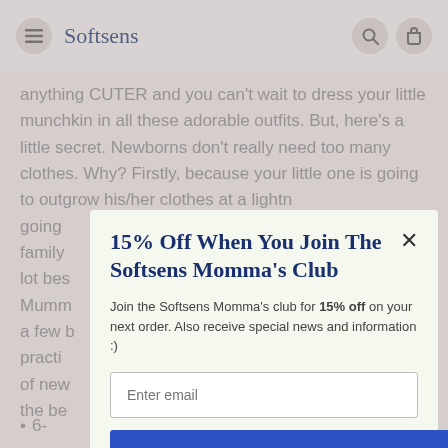Softsens
anything CUTER and you can't wait to dress your little munchkin in all these adorable outfits. But, here's a little secret. Newborns don't really need too many clothes. Why? Firstly, because your little one is going to outgrow his/her clothes at a lightn going family lot bes Mumm a few b practi of new the be
15% Off When You Join The Softsens Momma's Club
Join the Softsens Momma's club for 15% off on your next order. Also receive special news and information :)
6-